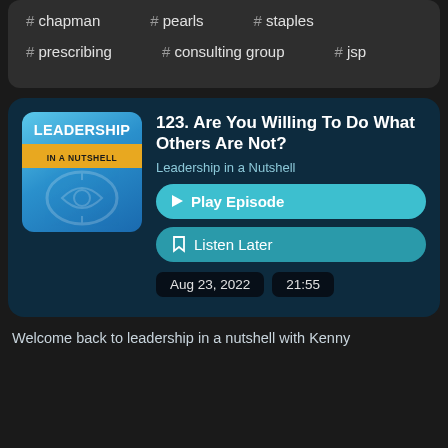# chapman
# pearls
# staples
# prescribing
# consulting group
# jsp
[Figure (other): Leadership in a Nutshell podcast logo — blue background with text LEADERSHIP in white bold and IN A NUTSHELL on an orange band]
123. Are You Willing To Do What Others Are Not?
Leadership in a Nutshell
Play Episode
Listen Later
Aug 23, 2022
21:55
Welcome back to leadership in a nutshell with Kenny